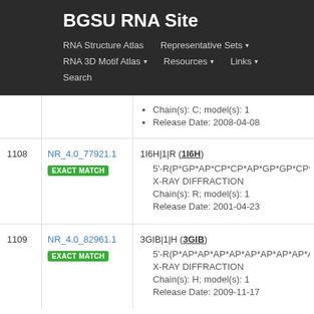BGSU RNA Site
RNA Structure Atlas | Representative Sets | RNA 3D Motif Atlas | Resources | Links | Search
Chain(s): C; model(s): 1
Release Date: 2008-04-08
1108
NR_4.0_77921.1 EXACT MATCH
1I6H|1|R (1I6H)
5'-R(P*GP*AP*CP*CP*AP*GP*GP*CP*A
X-RAY DIFFRACTION
Chain(s): R; model(s): 1
Release Date: 2001-04-23
1109
NR_4.0_82961.1 EXACT MATCH
3GIB|1|H (3GIB)
5'-R(P*AP*AP*AP*AP*AP*AP*AP*AP*A)-
X-RAY DIFFRACTION
Chain(s): H; model(s): 1
Release Date: 2009-11-17